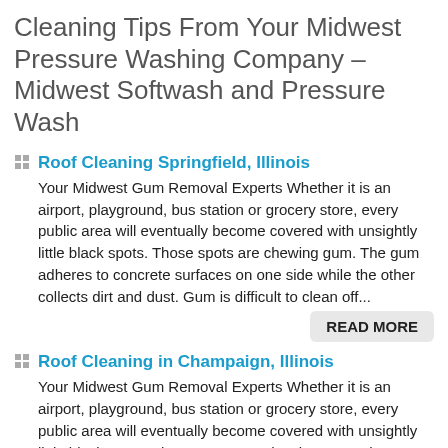Cleaning Tips From Your Midwest Pressure Washing Company – Midwest Softwash and Pressure Wash
Roof Cleaning Springfield, Illinois
Your Midwest Gum Removal Experts Whether it is an airport, playground, bus station or grocery store, every public area will eventually become covered with unsightly little black spots. Those spots are chewing gum. The gum adheres to concrete surfaces on one side while the other collects dirt and dust. Gum is difficult to clean off...
READ MORE
Roof Cleaning in Champaign, Illinois
Your Midwest Gum Removal Experts Whether it is an airport, playground, bus station or grocery store, every public area will eventually become covered with unsightly little black spots. Those spots are chewing gum. The gum adheres to concrete surfaces on one side while the other collects dirt and dust. Gum is difficult to clean off...
READ MORE
If you are looking for a Midwest Gum Removal Company then